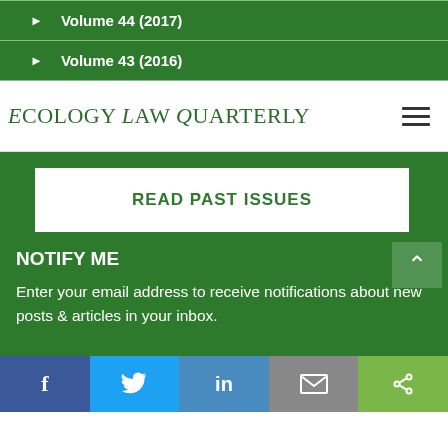Volume 44 (2017)
Volume 43 (2016)
Ecology Law Quarterly
READ PAST ISSUES
NOTIFY ME
Enter your email address to receive notifications about new posts & articles in your inbox.
f  Twitter  in  Email  Share